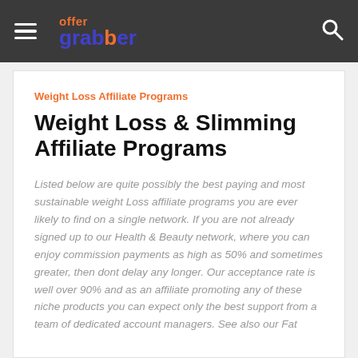offer grabber
Weight Loss Affiliate Programs
Weight Loss & Slimming Affiliate Programs
Listed below are quite possibly the best paying and most sustainable weight Loss affiliate programs you are ever likely to find on a single network. If you are not already signed up to our Health & Beauty network, where you can enjoy commission payments as high as 50% and sometimes greater, then dont delay any longer. Our acceptance rate is well over 90% and as an affiliate promoting any of these niche products you can expect only the best support from a team of dedicated account managers. See also our Fat